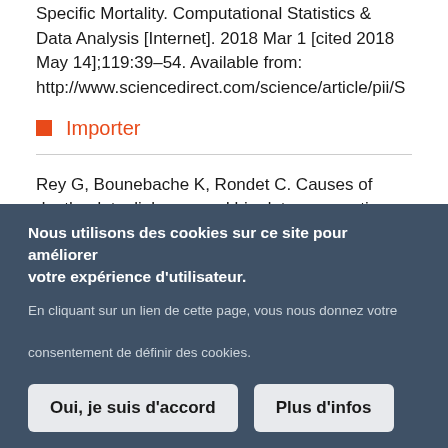Specific Mortality. Computational Statistics & Data Analysis [Internet]. 2018 Mar 1 [cited 2018 May 14];119:39–54. Available from: http://www.sciencedirect.com/science/article/pii/S
Importer
Rey G, Bounebache K, Rondet C. Causes of deaths data, linkages and big data perspectives. J Forensic Leg Med. 2018 Jul;57:37–40.
Nous utilisons des cookies sur ce site pour améliorer votre expérience d'utilisateur. En cliquant sur un lien de cette page, vous nous donnez votre consentement de définir des cookies.